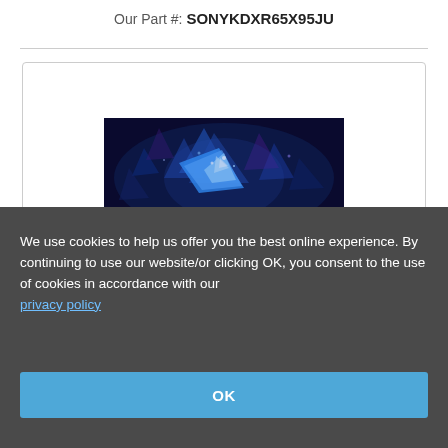Our Part #: SONYKDXR65X95JU
[Figure (photo): Sony TV product photo showing a vibrant blue crystal/gem image on screen, displayed as a television set]
We use cookies to help us offer you the best online experience. By continuing to use our website/or clicking OK, you consent to the use of cookies in accordance with our privacy policy
OK